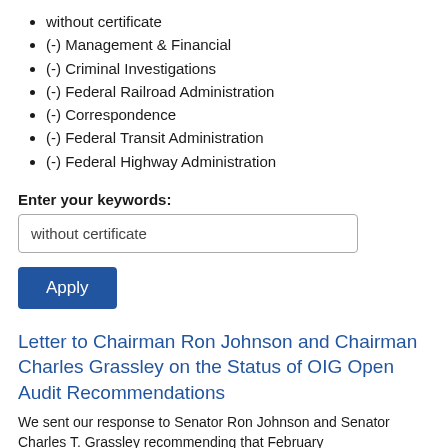without certificate
(-) Management & Financial
(-) Criminal Investigations
(-) Federal Railroad Administration
(-) Correspondence
(-) Federal Transit Administration
(-) Federal Highway Administration
Enter your keywords:
without certificate
Apply
Letter to Chairman Ron Johnson and Chairman Charles Grassley on the Status of OIG Open Audit Recommendations
We sent our response to Senator Ron Johnson and Senator Charles T. Grassley recommending that February...